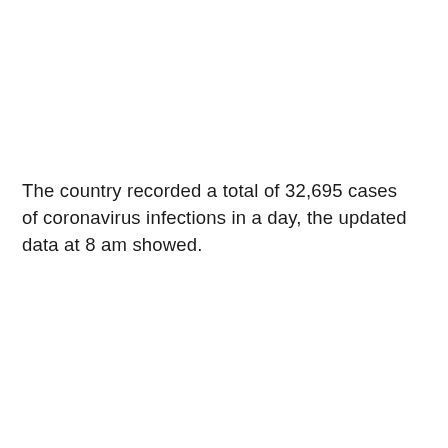The country recorded a total of 32,695 cases of coronavirus infections in a day, the updated data at 8 am showed.